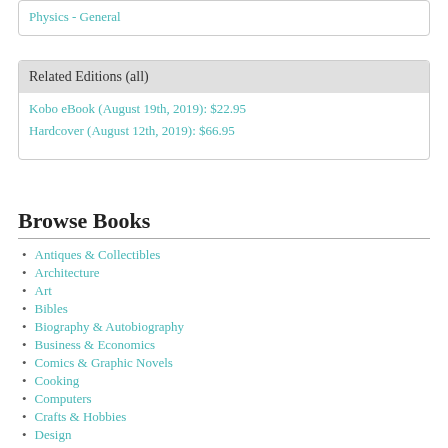Physics - General
Related Editions (all)
Kobo eBook (August 19th, 2019): $22.95
Hardcover (August 12th, 2019): $66.95
Browse Books
Antiques & Collectibles
Architecture
Art
Bibles
Biography & Autobiography
Business & Economics
Comics & Graphic Novels
Cooking
Computers
Crafts & Hobbies
Design